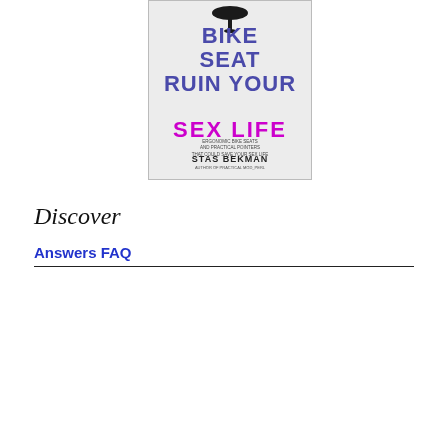[Figure (illustration): Book cover of 'Can Your Bike Seat Ruin Your Sex Life' by Stas Bekman. Shows a bicycle saddle at the top, title text in blue and magenta, subtitle text, and author name.]
Discover
Answers FAQ